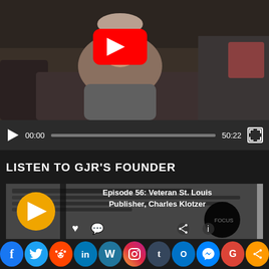[Figure (screenshot): Video thumbnail showing a woman sitting in a room with a couch, with a YouTube red play button overlay in the center]
[Figure (screenshot): Video player controls bar with play button, timestamp 00:00, progress bar, total time 50:22, and fullscreen button]
LISTEN TO GJR'S FOUNDER
[Figure (screenshot): Podcast episode thumbnail with play button, episode title 'Episode 56: Veteran St. Louis Publisher, Charles Klotzer', heart and chat icons, share and info buttons, and a newspaper clipping image in the background]
[Figure (infographic): Social media sharing icons row: Facebook, Twitter, Reddit, LinkedIn, WordPress, Instagram, Tumblr, Outlook, Messenger, Google, Share]